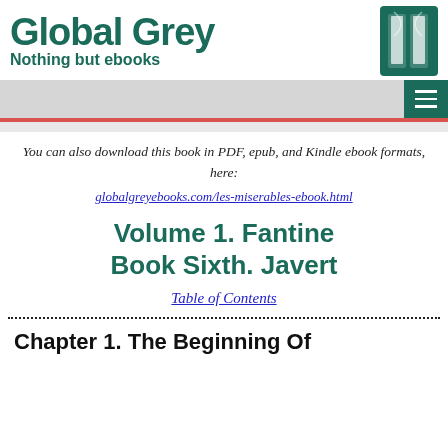Global Grey — Nothing but ebooks
You can also download this book in PDF, epub, and Kindle ebook formats, here:
globalgreyebooks.com/les-miserables-ebook.html
Volume 1. Fantine
Book Sixth. Javert
Table of Contents
Chapter 1. The Beginning Of